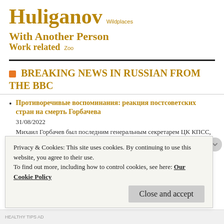Huliganov  Wildplaces  With Another Person  Work related  Zoo
BREAKING NEWS IN RUSSIAN FROM THE BBC
Противоречивые воспоминания: реакция постсоветских стран на смерть Горбачева
31/08/2022
Михаил Горбачев был последним генеральным секретарем ЦК КПСС, а также первым и единственным президентом Советского Союза. В каждой постсоветской стране Горбачева вспоминают по-своему. И не всегда добрым словом. Би-би-си собрала реакцию
Privacy & Cookies: This site uses cookies. By continuing to use this website, you agree to their use.
To find out more, including how to control cookies, see here: Our Cookie Policy